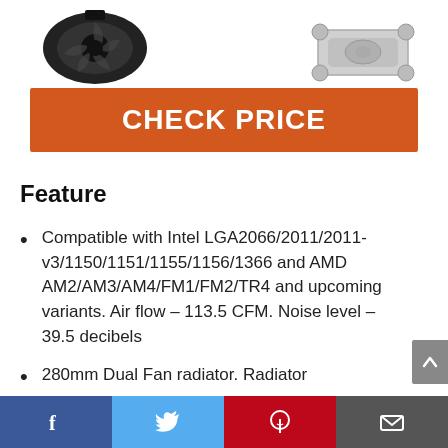[Figure (photo): Two product images at the top: a black CPU cooler fan on the left and a silver/chrome CPU cooler bracket on the right]
CHECK PRICE
Feature
Compatible with Intel LGA2066/2011/2011-v3/1150/1151/1155/1156/1366 and AMD AM2/AM3/AM4/FM1/FM2/TR4 and upcoming variants. Air flow – 113.5 CFM. Noise level – 39.5 decibels
280mm Dual Fan radiator. Radiator
Facebook | Twitter | Pinterest | Email